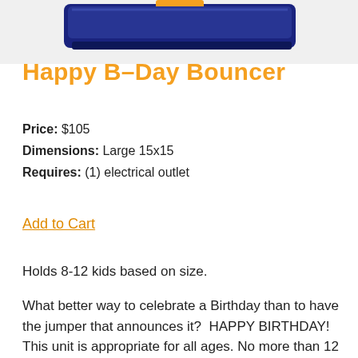[Figure (photo): Product photo of Happy B-Day Bouncer inflatable jumper, showing a blue bouncy castle with gold/yellow accents, viewed from top-front angle]
Happy B–Day Bouncer
Price: $105
Dimensions: Large 15x15
Requires: (1) electrical outlet
Add to Cart
Holds 8-12 kids based on size.
What better way to celebrate a Birthday than to have the jumper that announces it?  HAPPY BIRTHDAY!  This unit is appropriate for all ages. No more than 12 kids should load at a time for safety reasons.